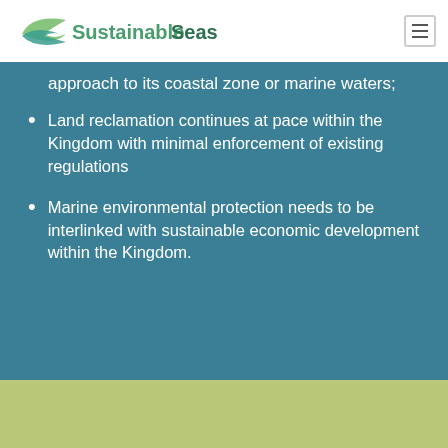SustainableSeas
approach to its coastal zone or marine waters;
Land reclamation continues at pace within the Kingdom with minimal enforcement of existing regulations
Marine environmental protection needs to be interlinked with sustainable economic development within the Kingdom.